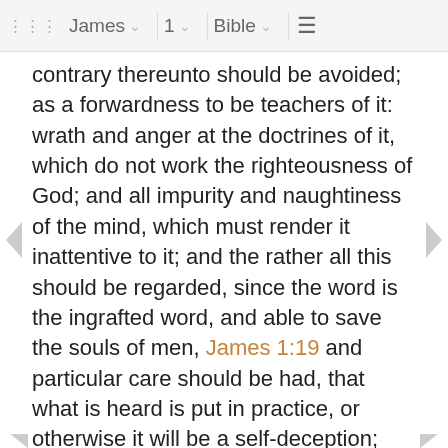James  1  Bible
contrary thereunto should be avoided; as a forwardness to be teachers of it: wrath and anger at the doctrines of it, which do not work the righteousness of God; and all impurity and naughtiness of the mind, which must render it inattentive to it; and the rather all this should be regarded, since the word is the ingrafted word, and able to save the souls of men, James 1:19 and particular care should be had, that what is heard is put in practice, or otherwise it will be a self-deception; and such will be like a man that beholds his face in a glass goes away, and forgets what sort of a man he is; whereas, if a man looks into the glass of the Gospel hears the word attentively, remembers what he hears, and continues in it, he finds many blessed advantages in so doing, James 1:22 and then the apostle distinguishes between a